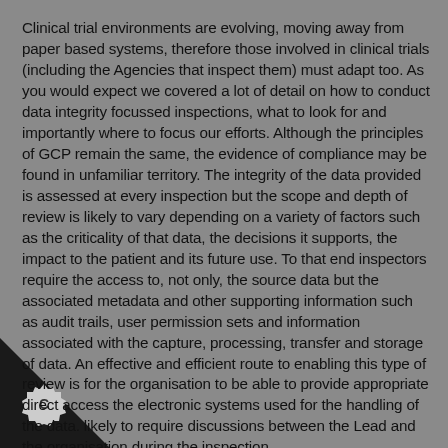Clinical trial environments are evolving, moving away from paper based systems, therefore those involved in clinical trials (including the Agencies that inspect them) must adapt too. As you would expect we covered a lot of detail on how to conduct data integrity focussed inspections, what to look for and importantly where to focus our efforts. Although the principles of GCP remain the same, the evidence of compliance may be found in unfamiliar territory. The integrity of the data provided is assessed at every inspection but the scope and depth of review is likely to vary depending on a variety of factors such as the criticality of that data, the decisions it supports, the impact to the patient and its future use. To that end inspectors require the access to, not only, the source data but the associated metadata and other supporting information such as audit trails, user permission sets and information associated with the capture, processing, transfer and storage of data. An effective and efficient route to enabling this type of review is for the organisation to be able to provide appropriate direct access the electronic systems used for the handling of the data. likely to require discussions between the Lead and the organisation during the inspection.
[Figure (logo): Dark triangular corner shape bottom-left with a gear/badge icon overlay]